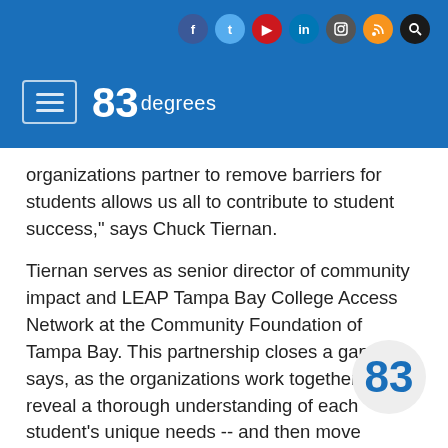83degrees
organizations partner to remove barriers for students allows us all to contribute to student success," says Chuck Tiernan.
Tiernan serves as senior director of community impact and LEAP Tampa Bay College Access Network at the Community Foundation of Tampa Bay. This partnership closes a gap, he says, as the organizations work together to reveal a thorough understanding of each student's unique needs -- and then move forward to meet them.
The partners bring specific benefits to the